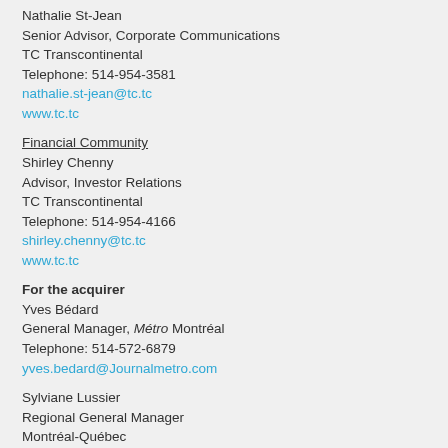Nathalie St-Jean
Senior Advisor, Corporate Communications
TC Transcontinental
Telephone: 514-954-3581
nathalie.st-jean@tc.tc
www.tc.tc
Financial Community
Shirley Chenny
Advisor, Investor Relations
TC Transcontinental
Telephone: 514-954-4166
shirley.chenny@tc.tc
www.tc.tc
For the acquirer
Yves Bédard
General Manager, Métro Montréal
Telephone: 514-572-6879
yves.bedard@Journalmetro.com
Sylviane Lussier
Regional General Manager
Montréal-Québec